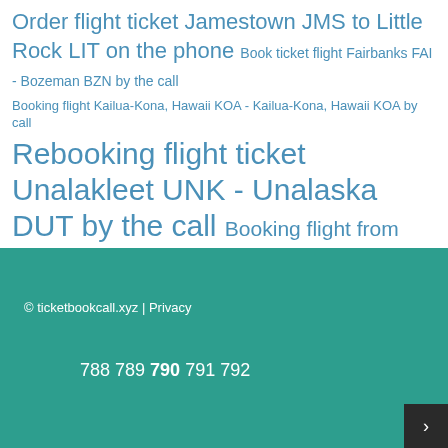Order flight ticket Jamestown JMS to Little Rock LIT on the phone Book ticket flight Fairbanks FAI - Bozeman BZN by the call
Booking flight Kailua-Kona, Hawaii KOA - Kailua-Kona, Hawaii KOA by call
Rebooking flight ticket Unalakleet UNK - Unalaska DUT by the call Booking flight from Gillette GCC - Harlingen HRL by phone Order airline from Evansville EVV to Miami MIA by phone
© ticketbookcall.xyz | Privacy
788 789 790 791 792